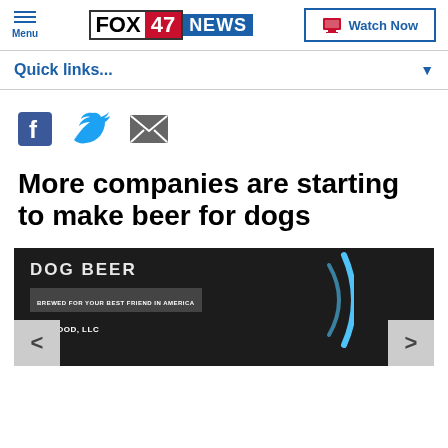FOX 47 NEWS — Menu | Watch Now
Quick links...
[Figure (screenshot): Social share icons: Facebook (blue), Twitter (blue bird), Email (envelope)]
More companies are starting to make beer for dogs
[Figure (photo): Dark photo with 'DOG BEER' text overlay and a blue arc graphic, navigation arrows on sides]